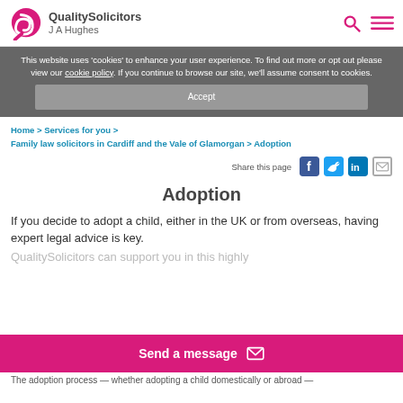[Figure (logo): QualitySolicitors J A Hughes logo with pink swoosh icon]
This website uses 'cookies' to enhance your user experience. To find out more or opt out please view our cookie policy. If you continue to browse our site, we'll assume consent to cookies.
Accept
Home > Services for you > Family law solicitors in Cardiff and the Vale of Glamorgan > Adoption
Share this page
Adoption
If you decide to adopt a child, either in the UK or from overseas, having expert legal advice is key.
QualitySolicitors can support you in this highly
Send a message
The adoption process — whether adopting a child domestically or abroad —